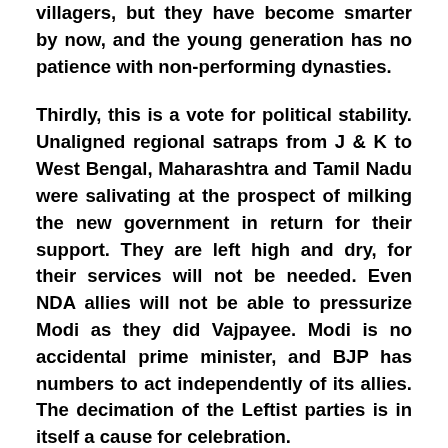villagers, but they have become smarter by now, and the young generation has no patience with non-performing dynasties.
Thirdly, this is a vote for political stability. Unaligned regional satraps from J & K to West Bengal, Maharashtra and Tamil Nadu were salivating at the prospect of milking the new government in return for their support. They are left high and dry, for their services will not be needed. Even NDA allies will not be able to pressurize Modi as they did Vajpayee. Modi is no accidental prime minister, and BJP has numbers to act independently of its allies. The decimation of the Leftist parties is in itself a cause for celebration.
Last, but not the least, the secular-communal divide artificially created to isolate the BJP and garner Muslim vote will become irrelevant. Modi has broken